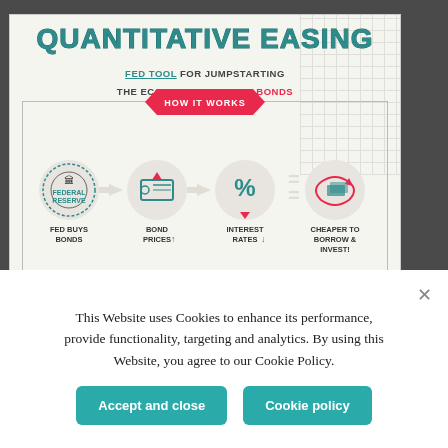QUANTITATIVE EASING
FED TOOL FOR JUMPSTARTING THE ECONOMY BY BUYING BONDS
[Figure (infographic): HOW IT WORKS infographic showing 4 steps: Fed Buys Bonds (Federal Reserve seal icon) → Bond Prices↑ (bond certificate icon) → Interest Rates↓ (percent symbol icon) = Cheaper to Borrow & Invest! (money/coins icon). Connected by right-pointing arrows and equals sign.]
This Website uses Cookies to enhance its performance, provide functionality, targeting and analytics. By using this Website, you agree to our Cookie Policy.
Accept and close
Cookie policy